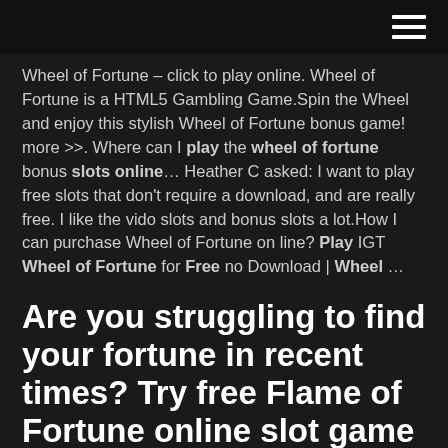[hamburger menu icon]
Wheel of Fortune – click to play online. Wheel of Fortune is a HTML5 Gambling Game.Spin the Wheel and enjoy this stylish Wheel of Fortune bonus game! more >>. Where can I play the wheel of fortune bonus slots online… Heather C asked: I want to play free slots that don't require a download, and are really free. I like the vido slots and bonus slots a lot.How I can purchase Wheel of Fortune on line? Play IGT Wheel of Fortune for Free no Download | Wheel …
Are you struggling to find your fortune in recent times? Try free Flame of Fortune online slot game and light up your fortune